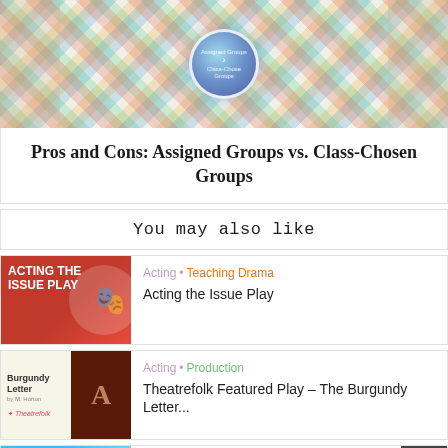[Figure (photo): Colorful image showing multiple hands reaching toward a glowing globe/crystal ball with text 'Assigned Groups vs. Class-Chosen Groups' against a colorful diamond-patterned background]
Pros and Cons: Assigned Groups vs. Class-Chosen Groups
You may also like
[Figure (photo): Red banner image with text 'ACTING THE ISSUE PLAY' and theatrical masks]
Acting • Teaching Drama
Acting the Issue Play
[Figure (photo): Book cover image for 'Burgundy Letter' by Theatrefolk with a large stylized letter A]
Acting • Production
Theatrefolk Featured Play – The Burgundy Letter...